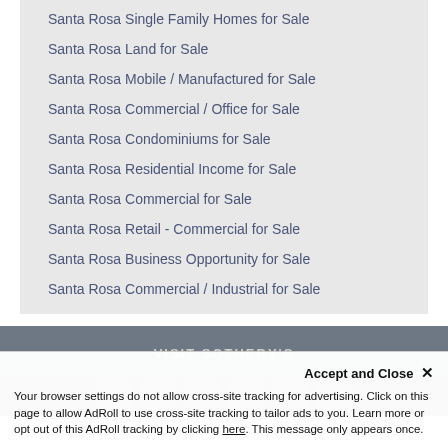Santa Rosa Single Family Homes for Sale
Santa Rosa Land for Sale
Santa Rosa Mobile / Manufactured for Sale
Santa Rosa Commercial / Office for Sale
Santa Rosa Condominiums for Sale
Santa Rosa Residential Income for Sale
Santa Rosa Commercial for Sale
Santa Rosa Retail - Commercial for Sale
Santa Rosa Business Opportunity for Sale
Santa Rosa Commercial / Industrial for Sale
VISIT SOTHEBY'S
Your browser settings do not allow cross-site tracking for advertising. Click on this page to allow AdRoll to use cross-site tracking to tailor ads to you. Learn more or opt out of this AdRoll tracking by clicking here. This message only appears once.